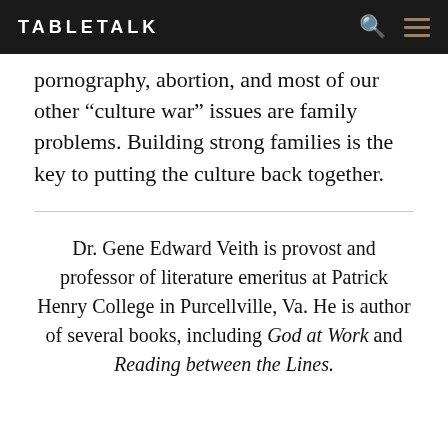TABLETALK
pornography, abortion, and most of our other “culture war” issues are family problems. Building strong families is the key to putting the culture back together.
Dr. Gene Edward Veith is provost and professor of literature emeritus at Patrick Henry College in Purcellville, Va. He is author of several books, including God at Work and Reading between the Lines.